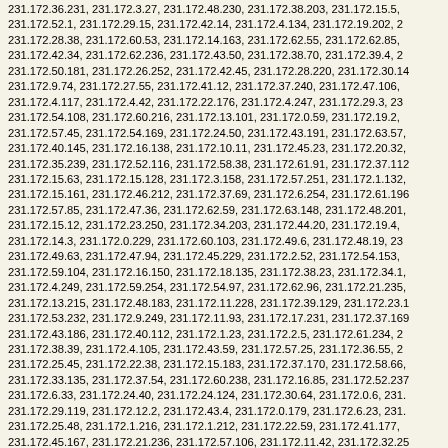231.172.36.231, 231.172.3.27, 231.172.48.230, 231.172.38.203, 231.172.15.5, 231.172.52.1, 231.172.29.15, 231.172.42.14, 231.172.4.134, 231.172.19.202, 231.172.28.38, 231.172.60.53, 231.172.14.163, 231.172.62.55, 231.172.62.85, 231.172.42.34, 231.172.62.236, 231.172.43.50, 231.172.38.70, 231.172.39.4, 231.172.50.181, 231.172.26.252, 231.172.42.45, 231.172.28.220, 231.172.30.14, 231.172.9.74, 231.172.27.55, 231.172.41.12, 231.172.37.240, 231.172.47.106, 231.172.4.117, 231.172.4.42, 231.172.22.176, 231.172.4.247, 231.172.29.3, 231.172.54.108, 231.172.60.216, 231.172.13.101, 231.172.0.59, 231.172.19.2, 231.172.57.45, 231.172.54.169, 231.172.24.50, 231.172.43.191, 231.172.63.57, 231.172.40.145, 231.172.16.138, 231.172.10.11, 231.172.45.23, 231.172.20.32, 231.172.35.239, 231.172.52.116, 231.172.58.38, 231.172.61.91, 231.172.37.112, 231.172.15.63, 231.172.15.128, 231.172.3.158, 231.172.57.251, 231.172.1.132, 231.172.15.161, 231.172.46.212, 231.172.37.69, 231.172.6.254, 231.172.61.196, 231.172.57.85, 231.172.47.36, 231.172.62.59, 231.172.63.148, 231.172.48.201, 231.172.15.12, 231.172.23.250, 231.172.34.203, 231.172.44.20, 231.172.19.4, 231.172.14.3, 231.172.0.229, 231.172.60.103, 231.172.49.6, 231.172.48.19, 231.172.49.63, 231.172.47.94, 231.172.45.229, 231.172.2.52, 231.172.54.153, 231.172.59.104, 231.172.16.150, 231.172.18.135, 231.172.38.23, 231.172.34.1, 231.172.4.249, 231.172.59.254, 231.172.54.97, 231.172.62.96, 231.172.21.235, 231.172.13.215, 231.172.48.183, 231.172.11.228, 231.172.39.129, 231.172.23.1, 231.172.53.232, 231.172.9.249, 231.172.11.93, 231.172.17.231, 231.172.37.169, 231.172.43.186, 231.172.40.112, 231.172.1.23, 231.172.2.5, 231.172.61.234, 231.172.38.39, 231.172.4.105, 231.172.43.59, 231.172.57.25, 231.172.36.55, 231.172.25.45, 231.172.22.38, 231.172.15.183, 231.172.37.170, 231.172.58.66, 231.172.33.135, 231.172.37.54, 231.172.60.238, 231.172.16.85, 231.172.52.237, 231.172.6.33, 231.172.24.40, 231.172.24.124, 231.172.30.64, 231.172.0.6, 231.172.29.119, 231.172.12.2, 231.172.43.4, 231.172.0.179, 231.172.6.23, 231.172.25.48, 231.172.1.216, 231.172.1.212, 231.172.22.59, 231.172.41.177, 231.172.45.167, 231.172.21.236, 231.172.57.106, 231.172.11.42, 231.172.32.25, 231.172.24.45, 231.172.51.120, 231.172.8.30, 231.172.19.8, 231.172.4.250, 231.172.5.238, 231.172.63.76, 231.172.42.70, 231.172.18.161, 231.172.28.57, 231.172.21.145, 231.172.3.51, 231.172.47.54, 231.172.24.130, 231.172.14.102, 231.172.50.110, 231.172.61.97, 231.172.55.96, 231.172.57.67, 231.172.22